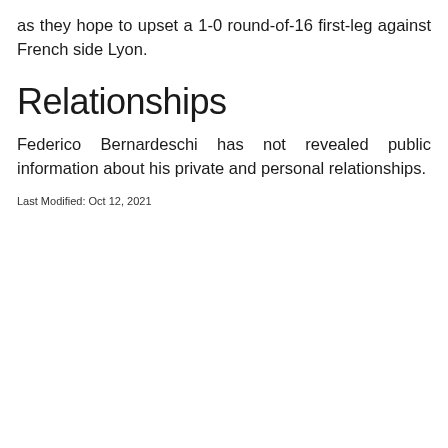as they hope to upset a 1-0 round-of-16 first-leg against French side Lyon.
Relationships
Federico Bernardeschi has not revealed public information about his private and personal relationships.
Last Modified: Oct 12, 2021